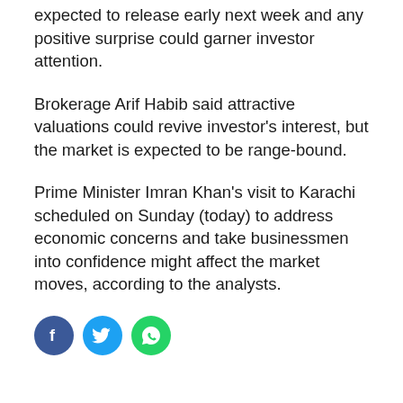expected to release early next week and any positive surprise could garner investor attention.
Brokerage Arif Habib said attractive valuations could revive investor's interest, but the market is expected to be range-bound.
Prime Minister Imran Khan's visit to Karachi scheduled on Sunday (today) to address economic concerns and take businessmen into confidence might affect the market moves, according to the analysts.
[Figure (other): Social media share icons: Facebook (blue circle with f), Twitter (light blue circle with bird), WhatsApp (green circle with phone/chat icon)]